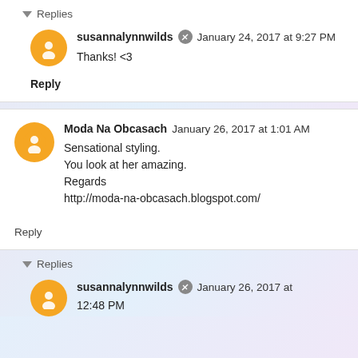Replies
susannalynnwilds  January 24, 2017 at 9:27 PM
Thanks! <3
Reply
Moda Na Obcasach  January 26, 2017 at 1:01 AM
Sensational styling.
You look at her amazing.
Regards
http://moda-na-obcasach.blogspot.com/
Reply
Replies
susannalynnwilds  January 26, 2017 at 12:48 PM